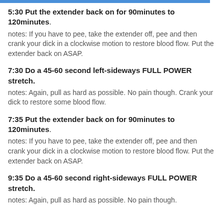5:30 Put the extender back on for 90minutes to 120minutes. notes: If you have to pee, take the extender off, pee and then crank your dick in a clockwise motion to restore blood flow. Put the extender back on ASAP.
7:30 Do a 45-60 second left-sideways FULL POWER stretch. notes: Again, pull as hard as possible. No pain though. Crank your dick to restore some blood flow.
7:35 Put the extender back on for 90minutes to 120minutes. notes: If you have to pee, take the extender off, pee and then crank your dick in a clockwise motion to restore blood flow. Put the extender back on ASAP.
9:35 Do a 45-60 second right-sideways FULL POWER stretch. notes: Again, pull as hard as possible. No pain though.